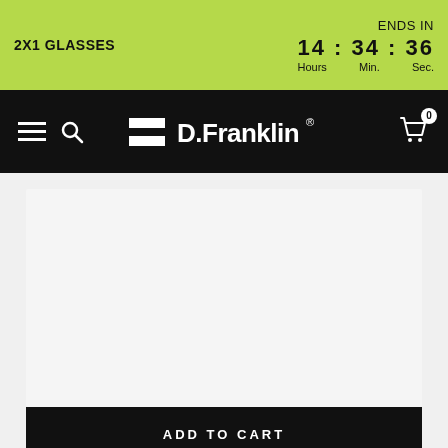2X1 GLASSES  |  ENDS IN  14 : 34 : 36  Hours  Min.  Sec.
[Figure (logo): D.Franklin brand logo with two horizontal bars on left and brand name on right, white on black background]
[Figure (photo): Product image area (light gray placeholder)]
ADD TO CART